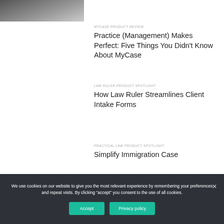[Figure (photo): Partial photo of a person at a desk, top-left corner]
MYCASE PRODUCT REVIEW
Practice (Management) Makes Perfect: Five Things You Didn't Know About MyCase
LAW RULER PRODUCT SPOTLIGHT
How Law Ruler Streamlines Client Intake Forms
PRACTICAL LAW PRODUCT SPOTLIGHT
Simplify Immigration Case
We use cookies on our website to give you the most relevant experience by remembering your preferences and repeat visits. By clicking “accept” you consent to the use of all cookies.